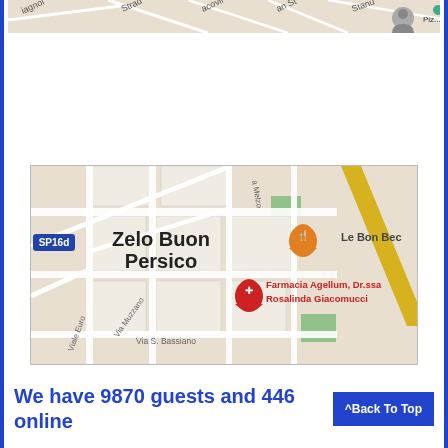[Figure (map): Partial Google Maps view at top of page showing street names including Strad, iagnol, Stanu, and other partial labels]
[Figure (map): Google Maps view of Zelo Buon Persico area showing SP16d road, Via Muzzano, Viale Euro, Via S. Bassiano streets, Le Bon Bec restaurant marker (orange), and Farmacia Agellum Dr.ssa Rosalinda Giacomucci pharmacy marker (red)]
We have 9870 guests and 446 online
^Back To Top